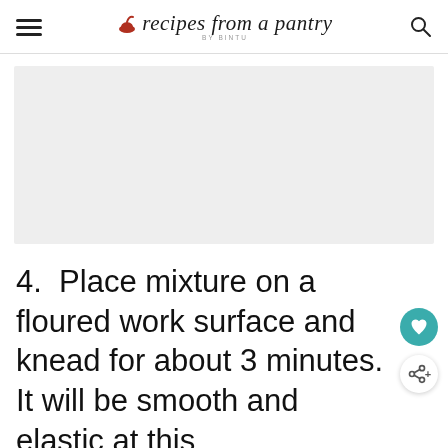recipes from a pantry BY BINTU
[Figure (photo): A light gray rectangular image placeholder area showing a recipe step photo]
4. Place mixture on a floured work surface and knead for about 3 minutes. It will be smooth and elastic at this